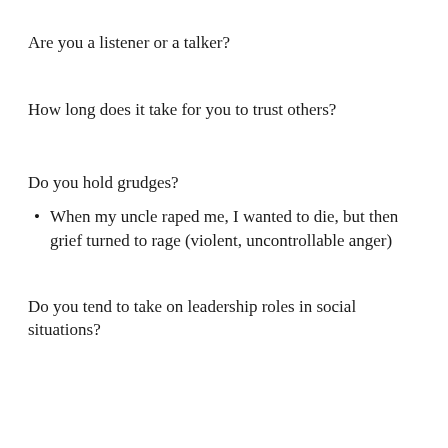Are you a listener or a talker?
How long does it take for you to trust others?
Do you hold grudges?
When my uncle raped me, I wanted to die, but then grief turned to rage (violent, uncontrollable anger)
Do you tend to take on leadership roles in social situations?